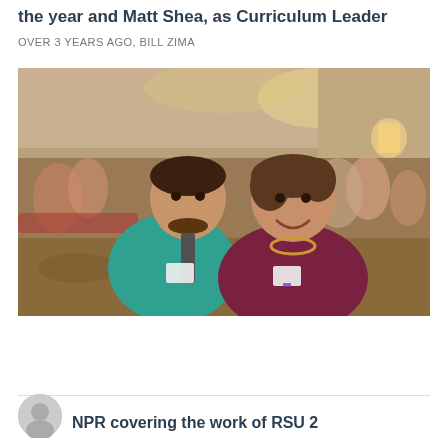the year and Matt Shea, as Curriculum Leader
OVER 3 YEARS AGO, BILL ZIMA
[Figure (photo): Two people seated at a banquet table in a conference/event hall. A man in a teal/turquoise dress shirt with a patterned tie and a name badge, and a woman in a dark maroon top with gold necklace and a name badge, smiling at the camera. Other attendees are visible in the background at round tables in a warmly lit ballroom.]
NPR covering the work of RSU 2